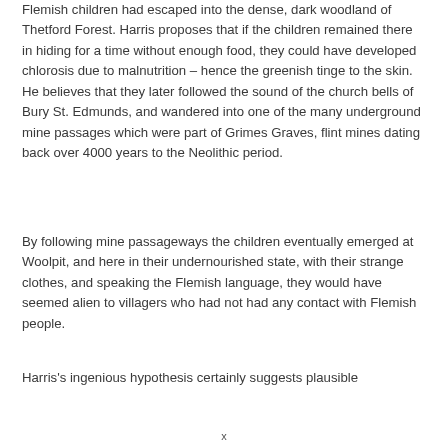Flemish children had escaped into the dense, dark woodland of Thetford Forest. Harris proposes that if the children remained there in hiding for a time without enough food, they could have developed chlorosis due to malnutrition – hence the greenish tinge to the skin. He believes that they later followed the sound of the church bells of Bury St. Edmunds, and wandered into one of the many underground mine passages which were part of Grimes Graves, flint mines dating back over 4000 years to the Neolithic period.
By following mine passageways the children eventually emerged at Woolpit, and here in their undernourished state, with their strange clothes, and speaking the Flemish language, they would have seemed alien to villagers who had not had any contact with Flemish people.
Harris's ingenious hypothesis certainly suggests plausible ...
x